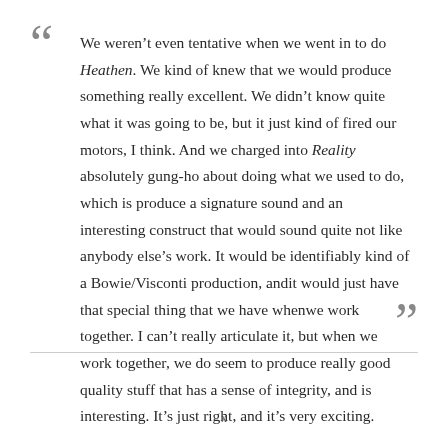We weren't even tentative when we went in to do Heathen. We kind of knew that we would produce something really excellent. We didn't know quite what it was going to be, but it just kind of fired our motors, I think. And we charged into Reality absolutely gung-ho about doing what we used to do, which is produce a signature sound and an interesting construct that would sound quite not like anybody else's work. It would be identifiably kind of a Bowie/Visconti production, andit would just have that special thing that we have whenwe work together. I can't really articulate it, but when we work together, we do seem to produce really good quality stuff that has a sense of integrity, and is interesting. It's just right, and it's very exciting.
x